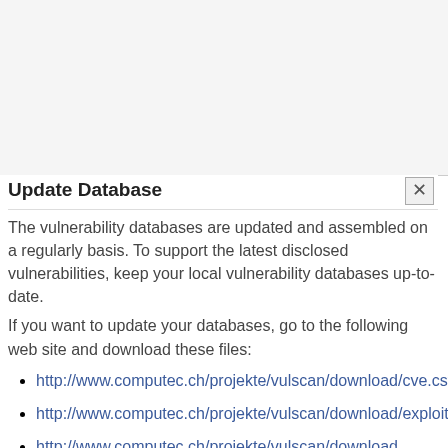Update Database
The vulnerability databases are updated and assembled on a regularly basis. To support the latest disclosed vulnerabilities, keep your local vulnerability databases up-to-date.
If you want to update your databases, go to the following web site and download these files:
http://www.computec.ch/projekte/vulscan/download/cve.csv
http://www.computec.ch/projekte/vulscan/download/exploitdb.csv
http://www.computec.ch/projekte/vulscan/download/...